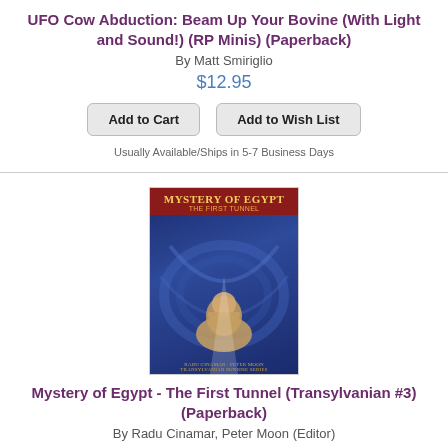UFO Cow Abduction: Beam Up Your Bovine (With Light and Sound!) (RP Minis) (Paperback)
By Matt Smiriglio
$12.95
Add to Cart
Add to Wish List
Usually Available/Ships in 5-7 Business Days
[Figure (illustration): Book cover for Mystery of Egypt - The First Tunnel showing a sphinx and swirling blue background]
Mystery of Egypt - The First Tunnel (Transylvanian #3) (Paperback)
By Radu Cinamar, Peter Moon (Editor)
$22.00
Add to Cart
Add to Wish List